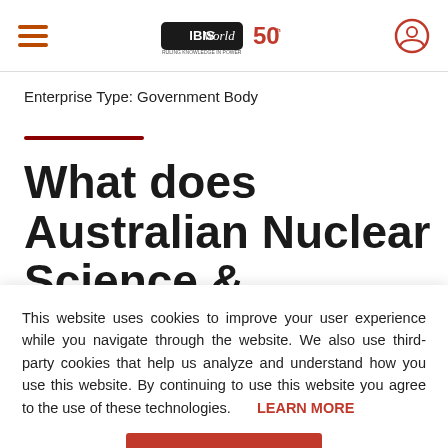IBISWorld 50th Anniversary — navigation header with hamburger menu and user icon
Enterprise Type: Government Body
What does Australian Nuclear Science &
This website uses cookies to improve your user experience while you navigate through the website. We also use third-party cookies that help us analyze and understand how you use this website. By continuing to use this website you agree to the use of these technologies. LEARN MORE
ACCEPT